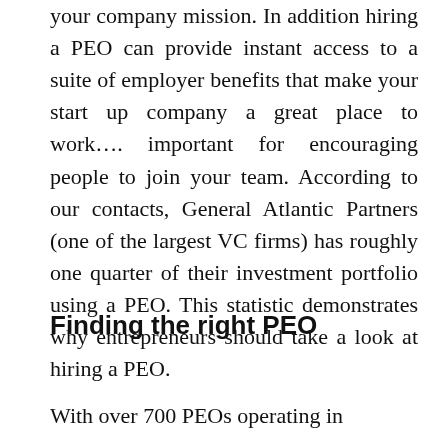your company mission. In addition hiring a PEO can provide instant access to a suite of employer benefits that make your start up company a great place to work…. important for encouraging people to join your team. According to our contacts, General Atlantic Partners (one of the largest VC firms) has roughly one quarter of their investment portfolio using a PEO. This statistic demonstrates why entrepreneurs should take a look at hiring a PEO.
Finding the right PEO
With over 700 PEOs operating in